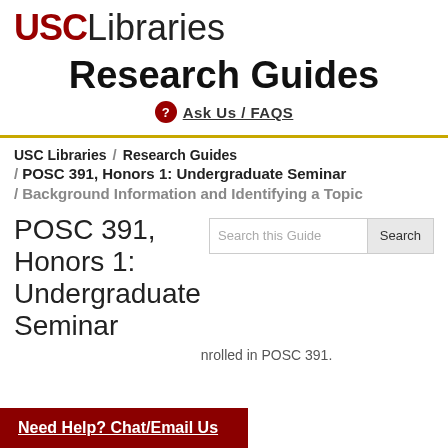USC Libraries
Research Guides
Ask Us / FAQS
USC Libraries / Research Guides / POSC 391, Honors 1: Undergraduate Seminar / Background Information and Identifying a Topic
POSC 391, Honors 1: Undergraduate Seminar
nrolled in POSC 391.
Need Help? Chat/Email Us